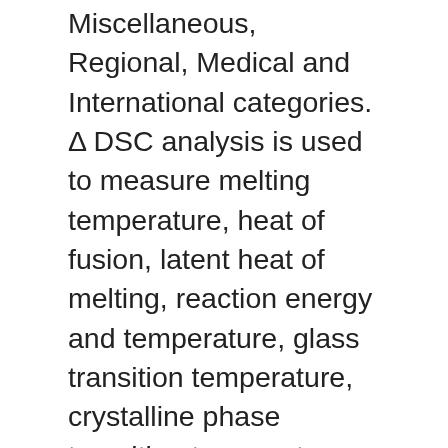Miscellaneous, Regional, Medical and International categories. Δ DSC analysis is used to measure melting temperature, heat of fusion, latent heat of melting, reaction energy and temperature, glass transition temperature, crystalline phase transition temperature and energy, precipitation energy and temperature, denaturization temperatures, oxidation induction times, and specific heat or heat capacity. Pittsburgh Conference on Analytical Chemistry and Applied Spectroscopy, "Ligand binding analysis and screening by chemical denaturation shift", "Differential scanning calorimetry: An invaluable tool for a detailed thermodynamic characterization of